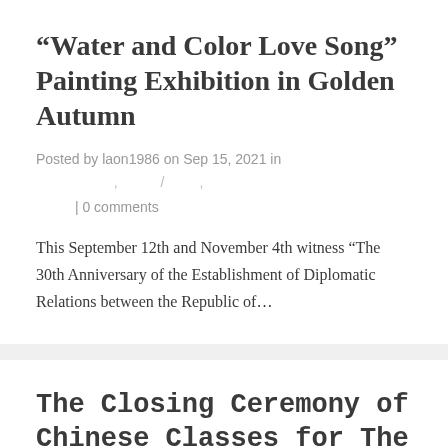“Water and Color Love Song” Painting Exhibition in Golden Autumn
Posted by laon1986 on Sep 15, 2021 in
| 0 comments
This September 12th and November 4th witness “The 30th Anniversary of the Establishment of Diplomatic Relations between the Republic of...
The Closing Ceremony of Chinese Classes for The 2020-2021 Academic Year of Confucius Classroom at